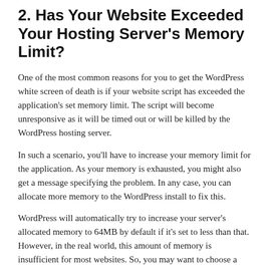2. Has Your Website Exceeded Your Hosting Server's Memory Limit?
One of the most common reasons for you to get the WordPress white screen of death is if your website script has exceeded the application's set memory limit. The script will become unresponsive as it will be timed out or will be killed by the WordPress hosting server.
In such a scenario, you'll have to increase your memory limit for the application. As your memory is exhausted, you might also get a message specifying the problem. In any case, you can allocate more memory to the WordPress install to fix this.
WordPress will automatically try to increase your server's allocated memory to 64MB by default if it's set to less than that. However, in the real world, this amount of memory is insufficient for most websites. So, you may want to choose a higher number when specifying your site's memory allocation.
But how do you change your PHP memory limit in WordPress?
You can increase the memory allocated to